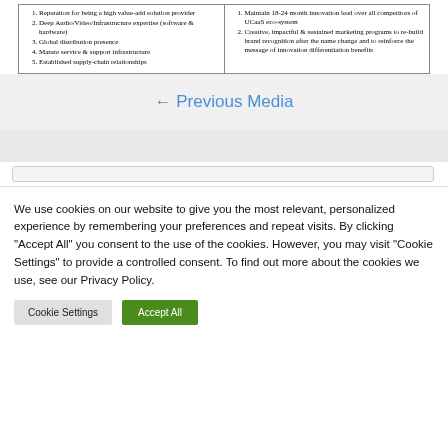| 1. Reputation for being a high value-add solution provider
2. Deep Audio/Video/Infrastructure expertise (software & hardware)
3. Global distribution presence
4. Mature service & support infrastructure
5. Established supply-chain relationships | 1. Maintain 18-24 month innovation lead over all competitors of UCaaS eco-system
2. Creative, impactful & sustained marketing programs to re-build brand recognition after the name change and to reinforce the message of innovation differentiation benefits |
← Previous Media
We use cookies on our website to give you the most relevant, personalized experience by remembering your preferences and repeat visits. By clicking "Accept All" you consent to the use of the cookies. However, you may visit "Cookie Settings" to provide a controlled consent. To find out more about the cookies we use, see our Privacy Policy.